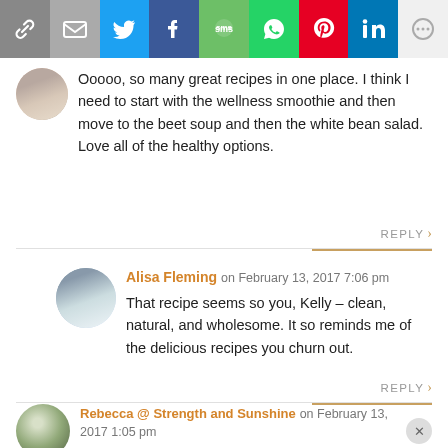[Figure (infographic): Social sharing bar with icons: link, email, Twitter, Facebook, SMS, WhatsApp, Pinterest, LinkedIn, More]
Ooooo, so many great recipes in one place. I think I need to start with the wellness smoothie and then move to the beet soup and then the white bean salad. Love all of the healthy options.
REPLY >
Alisa Fleming on February 13, 2017 7:06 pm
That recipe seems so you, Kelly – clean, natural, and wholesome. It so reminds me of the delicious recipes you churn out.
REPLY >
Rebecca @ Strength and Sunshine on February 13, 2017 1:05 pm